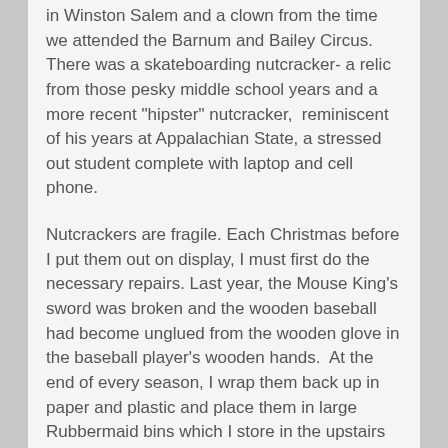in Winston Salem and a clown from the time we attended the Barnum and Bailey Circus. There was a skateboarding nutcracker- a relic from those pesky middle school years and a more recent "hipster" nutcracker,  reminiscent of his years at Appalachian State, a stressed out student complete with laptop and cell phone.
Nutcrackers are fragile. Each Christmas before I put them out on display, I must first do the necessary repairs. Last year, the Mouse King's sword was broken and the wooden baseball had become unglued from the wooden glove in the baseball player's wooden hands.  At the end of every season, I wrap them back up in paper and plastic and place them in large Rubbermaid bins which I store in the upstairs closet.
After 24 years, we have amassed so many nutcrackers that we hardly have enough room to display all of them in our small house. We used to arrange them all side-by-side on top of the server in